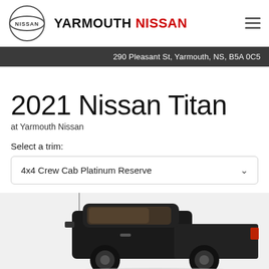YARMOUTH NISSAN
290 Pleasant St, Yarmouth, NS, B5A 0C5
2021 Nissan Titan
at Yarmouth Nissan
Select a trim:
4x4 Crew Cab Platinum Reserve
[Figure (photo): Dark-colored 2021 Nissan Titan pickup truck viewed from rear three-quarter angle]